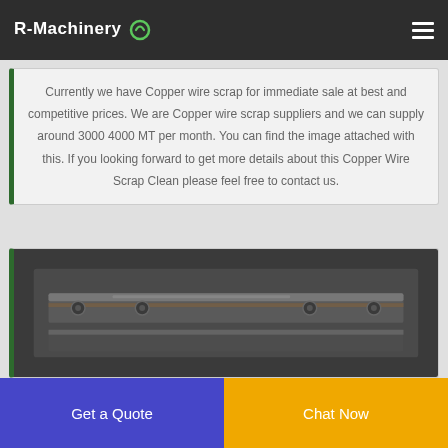R-Machinery
Currently we have Copper wire scrap for immediate sale at best and competitive prices. We are Copper wire scrap suppliers and we can supply around 3000 4000 MT per month. You can find the image attached with this. If you looking forward to get more details about this Copper Wire Scrap Clean please feel free to contact us.
[Figure (photo): Close-up photo of copper wire scrap machinery or copper wire material, showing metallic industrial parts]
Get a Quote
Chat Now